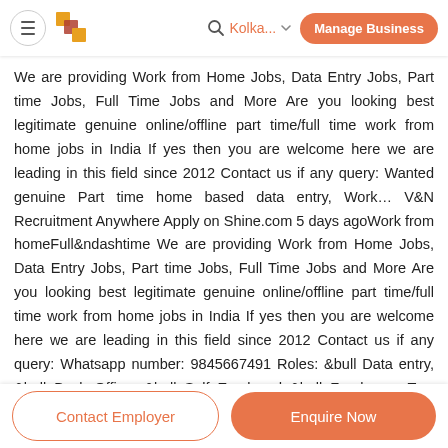≡ [logo] 🔍 Kolka... ∨ Manage Business
We are providing Work from Home Jobs, Data Entry Jobs, Part time Jobs, Full Time Jobs and More Are you looking best legitimate genuine online/offline part time/full time work from home jobs in India If yes then you are welcome here we are leading in this field since 2012 Contact us if any query: Wanted genuine Part time home based data entry, Work... V&N Recruitment Anywhere Apply on Shine.com 5 days agoWork from homeFull&ndashtime We are providing Work from Home Jobs, Data Entry Jobs, Part time Jobs, Full Time Jobs and More Are you looking best legitimate genuine online/offline part time/full time work from home jobs in India If yes then you are welcome here we are leading in this field since 2012 Contact us if any query: Whatsapp number: 9845667491 Roles: &bull Data entry, &bull Back Office, &bull Self Employed &bull Freelancer Two Types of Home Based Data Entry work Home...
Contact Employer | Enquire Now